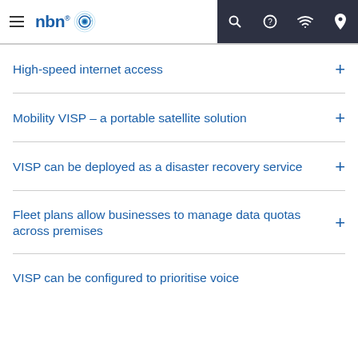nbn — navigation header with hamburger menu, search, help, wifi, and location icons
High-speed internet access
Mobility VISP – a portable satellite solution
VISP can be deployed as a disaster recovery service
Fleet plans allow businesses to manage data quotas across premises
VISP can be configured to prioritise voice